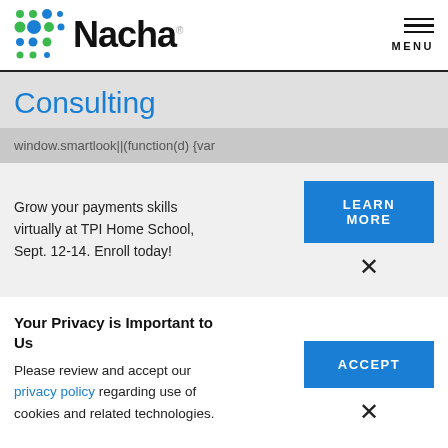[Figure (logo): Nacha logo with colorful dot grid and wordmark]
MENU
Consulting
window.smartlook||(function(d) {var
Grow your payments skills virtually at TPI Home School, Sept. 12-14. Enroll today!
LEARN MORE
×
Your Privacy is Important to Us
Please review and accept our privacy policy regarding use of cookies and related technologies.
ACCEPT
×